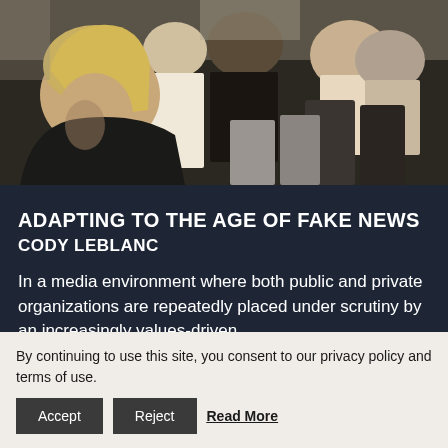[Figure (photo): Audience members seated in a conference or lecture hall, viewed from behind and side angles. A woman with blonde hair in the foreground looks downward. Multiple people seated in rows are visible in the background.]
ADAPTING TO THE AGE OF FAKE NEWS
CODY LEBLANC
In a media environment where both public and private organizations are repeatedly placed under scrutiny by an increasingly values-driven
By continuing to use this site, you consent to our privacy policy and terms of use. Accept Reject Read More